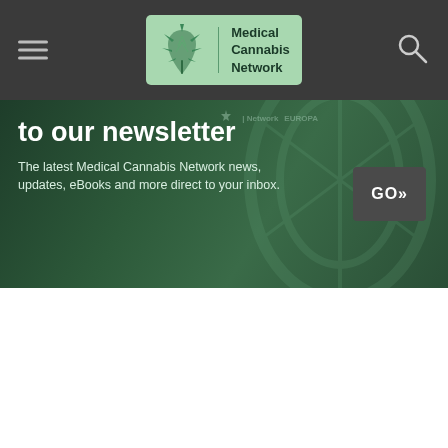Medical Cannabis Network
[Figure (screenshot): Newsletter subscription banner with dark green cannabis leaf background. Text reads 'to our newsletter' in large white bold font. Subtext: 'The latest Medical Cannabis Network news, updates, eBooks and more direct to your inbox.' A dark GO>> button appears on the right. Small overlay logos for Network and EUROPA appear in the top right corner of the banner.]